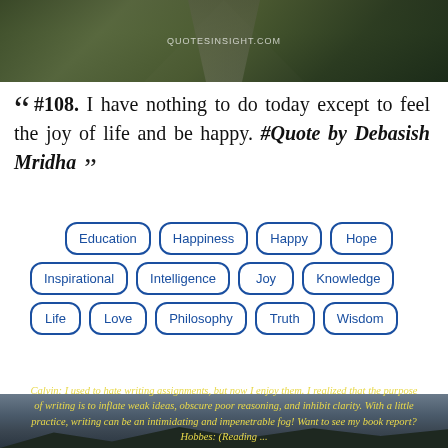[Figure (photo): Aerial/road view image with QUOTESINSIGHT.COM watermark, dark landscape with road]
“” #108. I have nothing to do today except to feel the joy of life and be happy. #Quote by Debasish Mridha ””
Education
Happiness
Happy
Hope
Inspirational
Intelligence
Joy
Knowledge
Life
Love
Philosophy
Truth
Wisdom
[Figure (photo): Dark landscape photo with mountain silhouette and sky, containing yellow italic Calvin and Hobbes quote text overlay]
Calvin: I used to hate writing assignments, but now I enjoy them. I realized that the purpose of writing is to inflate weak ideas, obscure poor reasoning, and inhibit clarity. With a little practice, writing can be an intimidating and impenetrable fog! Want to see my book report? Hobbes: (Reading ...